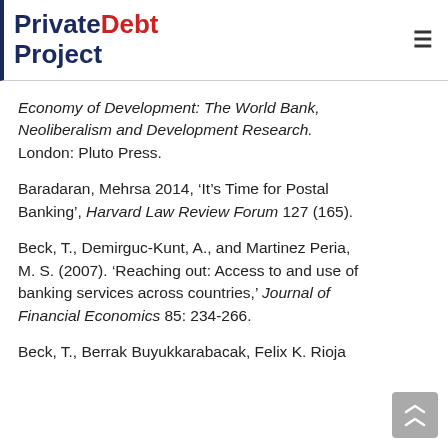PrivateDebt Project
Economy of Development: The World Bank, Neoliberalism and Development Research. London: Pluto Press.
Baradaran, Mehrsa 2014, ‘It’s Time for Postal Banking’, Harvard Law Review Forum 127 (165).
Beck, T., Demirguc-Kunt, A., and Martinez Peria, M. S. (2007). ‘Reaching out: Access to and use of banking services across countries,’ Journal of Financial Economics 85: 234-266.
Beck, T., Berrak Buyukkarabacak, Felix K. Rioja